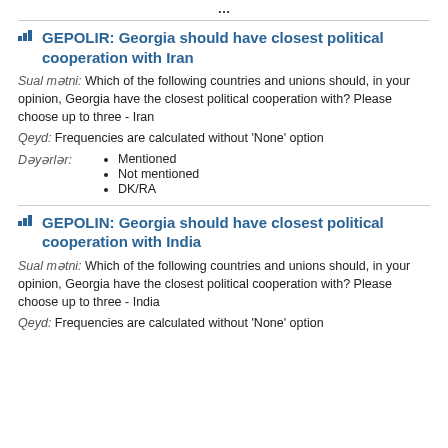GEPOLIR: Georgia should have closest political cooperation with Iran
Sual mətni: Which of the following countries and unions should, in your opinion, Georgia have the closest political cooperation with? Please choose up to three - Iran
Qeyd: Frequencies are calculated without 'None' option
Mentioned
Not mentioned
DK/RA
GEPOLIN: Georgia should have closest political cooperation with India
Sual mətni: Which of the following countries and unions should, in your opinion, Georgia have the closest political cooperation with? Please choose up to three - India
Qeyd: Frequencies are calculated without 'None' option